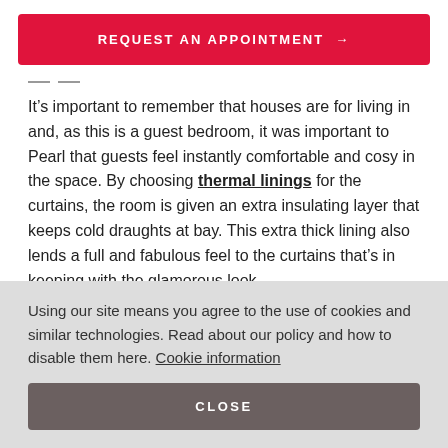[Figure (other): Red button with text REQUEST AN APPOINTMENT and arrow]
It’s important to remember that houses are for living in and, as this is a guest bedroom, it was important to Pearl that guests feel instantly comfortable and cosy in the space. By choosing thermal linings for the curtains, the room is given an extra insulating layer that keeps cold draughts at bay. This extra thick lining also lends a full and fabulous feel to the curtains that’s in keeping with the glamorous look.
Using our site means you agree to the use of cookies and similar technologies. Read about our policy and how to disable them here. Cookie information
[Figure (other): Dark grey CLOSE button]